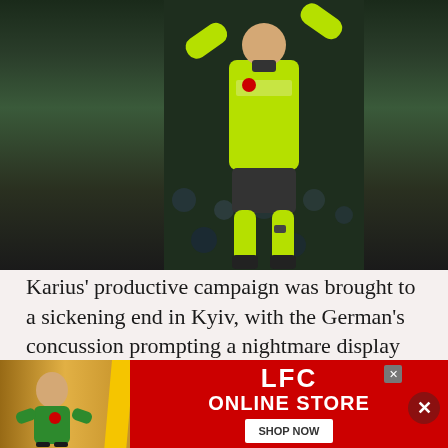[Figure (photo): A goalkeeper wearing a bright neon green/yellow kit with arms raised, photographed against a dark blurred crowd background]
Karius' productive campaign was brought to a sickening end in Kyiv, with the German's concussion prompting a nightmare display in the Champions League final.
This has sparked widespread calls for Klopp to sign a replacement, while an ill-advised and poorly timed PR move on Instagram has
[Figure (screenshot): LFC Online Store advertisement banner with red background, a person in a green jersey on the left, yellow diagonal stripe, LFC ONLINE STORE text, SHOP NOW button, and a close button]